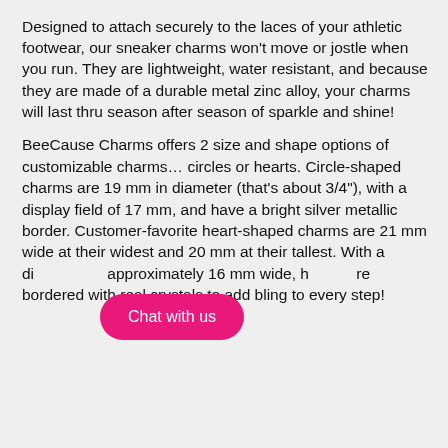Designed to attach securely to the laces of your athletic footwear, our sneaker charms won't move or jostle when you run. They are lightweight, water resistant, and because they are made of a durable metal zinc alloy, your charms will last thru season after season of sparkle and shine!

BeeCause Charms offers 2 size and shape options of customizable charms… circles or hearts. Circle-shaped charms are 19 mm in diameter (that's about 3/4"), with a display field of 17 mm, and have a bright silver metallic border. Customer-favorite heart-shaped charms are 21 mm wide at their widest and 20 mm at their tallest. With a display field approximately 16 mm wide, hearts are bordered with real crystals to add bling to every step!
[Figure (other): Pink 'Chat with us' button overlay at bottom left of page]